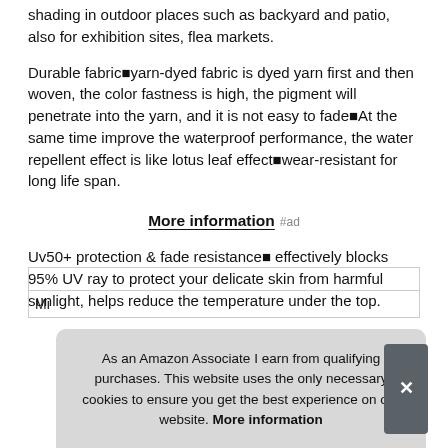shading in outdoor places such as backyard and patio, also for exhibition sites, flea markets.
Durable fabric­yarn-dyed fabric is dyed yarn first and then woven, the color fastness is high, the pigment will penetrate into the yarn, and it is not easy to fade­At the same time improve the waterproof performance, the water repellent effect is like lotus leaf effect­wear-resistant for long life span.
More information #ad
Uv50+ protection & fade resistance­ effectively blocks 95% UV ray to protect your delicate skin from harmful sunlight, helps reduce the temperature under the top.
As an Amazon Associate I earn from qualifying purchases. This website uses the only necessary cookies to ensure you get the best experience on our website. More information